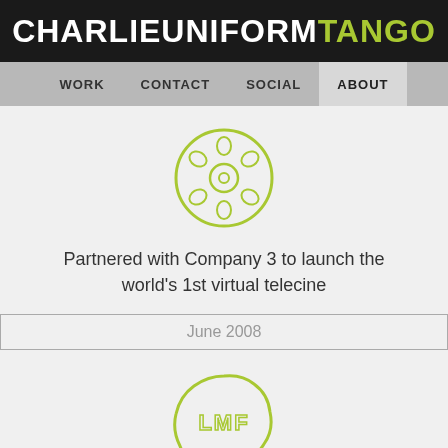CHARLIEUNIFORMTANGO
[Figure (illustration): Navigation bar with links: WORK, CONTACT, SOCIAL, ABOUT (active)]
[Figure (illustration): Film reel icon drawn in yellow-green outline style]
Partnered with Company 3 to launch the world's 1st virtual telecine
June 2008
[Figure (logo): LMF circular stamp/seal logo in yellow-green outline]
Launch of Liberal Media Films, Tango's production company